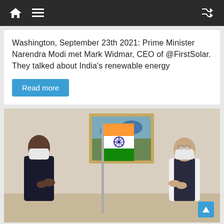Navigation bar with home, menu, and shuffle icons
Washington, September 23th 2021: Prime Minister Narendra Modi met Mark Widmar, CEO of @FirstSolar. They talked about India's renewable energy
Read more
[Figure (photo): Two men wearing face masks greeting each other with folded hands (namaste gesture) in front of the Indian flag and a framed painting. One man wears a dark suit and the other wears a white shirt with a dark sleeveless vest.]